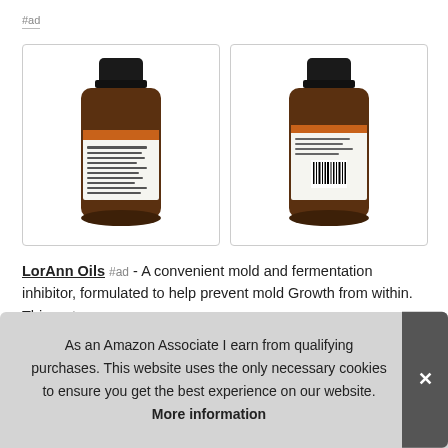#ad
[Figure (photo): Two amber glass bottles of LorAnn Oils product shown from different angles (front/label view and back/barcode view) side by side in white-bordered image boxes]
LorAnn Oils #ad - A convenient mold and fermentation inhibitor, formulated to help prevent mold Growth from within. This wat... pas... Gen...
As an Amazon Associate I earn from qualifying purchases. This website uses the only necessary cookies to ensure you get the best experience on our website. More information